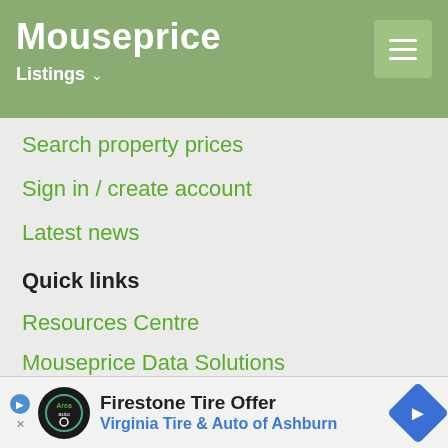Mouseprice — Listings navigation header
Search property prices
Sign in / create account
Latest news
Quick links
Resources Centre
Mouseprice Data Solutions
Mouseprice Pro
Site map
PropertyHeads Group
PropertyHeads
About PHG
Contact
[Figure (infographic): Advertisement: Firestone Tire Offer — Virginia Tire & Auto of Ashburn with play button, logo circle, and direction arrow icon]